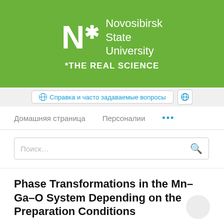[Figure (logo): Novosibirsk State University logo with green background, white N letter, asterisk, and text 'THE REAL SCIENCE']
Справка и часто задаваемые вопросы
Домашняя страница   Персоналии   ...
Поиск...
Phase Transformations in the Mn–Ga–O System Depending on the Preparation Conditions
O. S. Venediktova, O. A. Bulavchenko, T. N. Afonasenko, P. G. Tsysul'nikov, E. Yu Gerasimov, S. V. Tsybulya